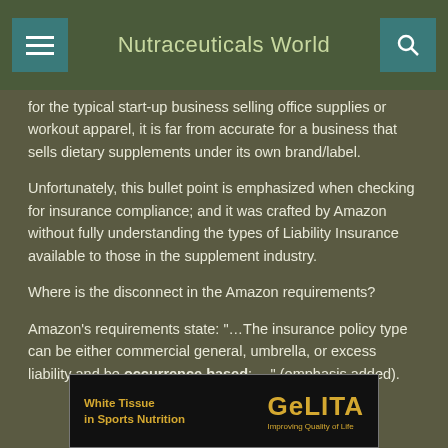Nutraceuticals World
for the typical start-up business selling office supplies or workout apparel, it is far from accurate for a business that sells dietary supplements under its own brand/label.
Unfortunately, this bullet point is emphasized when checking for insurance compliance; and it was crafted by Amazon without fully understanding the types of Liability Insurance available to those in the supplement industry.
Where is the disconnect in the Amazon requirements?
Amazon's requirements state: "…The insurance policy type can be either commercial general, umbrella, or excess liability and be occurrence based; …" (emphasis added).
[Figure (other): Advertisement banner for GELITA: White Tissue in Sports Nutrition — Improving Quality of Life]